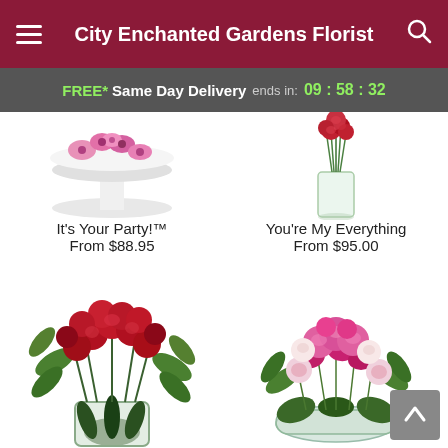City Enchanted Gardens Florist
FREE* Same Day Delivery ends in: 09 : 58 : 32
[Figure (photo): Partial view of white pedestal dish with pink flowers on white background - It's Your Party!™]
It's Your Party!™
From $88.95
[Figure (photo): Partial view of glass vase with red roses - You're My Everything]
You're My Everything
From $95.00
[Figure (photo): Bouquet of red roses with greenery in a glass vase with leaf pattern]
[Figure (photo): Pink and red mixed flower arrangement with roses and alstroemeria in a low glass vase]